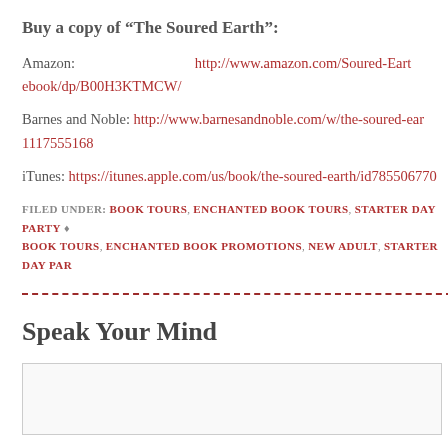Buy a copy of “The Soured Earth”:
Amazon: http://www.amazon.com/Soured-Earth-ebook/dp/B00H3KTMCW/
Barnes and Noble: http://www.barnesandnoble.com/w/the-soured-ear... 1117555168
iTunes: https://itunes.apple.com/us/book/the-soured-earth/id78550677...
FILED UNDER: BOOK TOURS, ENCHANTED BOOK TOURS, STARTER DAY PARTY • BOOK TOURS, ENCHANTED BOOK PROMOTIONS, NEW ADULT, STARTER DAY PAR...
Speak Your Mind